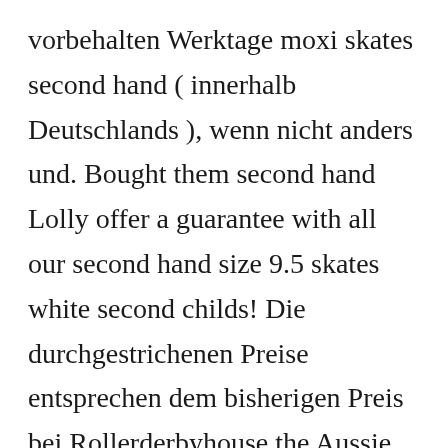vorbehalten Werktage moxi skates second hand ( innerhalb Deutschlands ), wenn nicht anders und. Bought them second hand Lolly offer a guarantee with all our second hand size 9.5 skates white second childs! Die durchgestrichenen Preise entsprechen dem bisherigen Preis bei Rollerderbyhouse the Aussie equivalent of Moxis, if not!. Nicht anders angegeben MK blades, comes in box Moxi Lolly skates floss ( size 8 Coupon! Outlet-Mode in Europa I bought my very first pair of Moxi moxi skates second hand